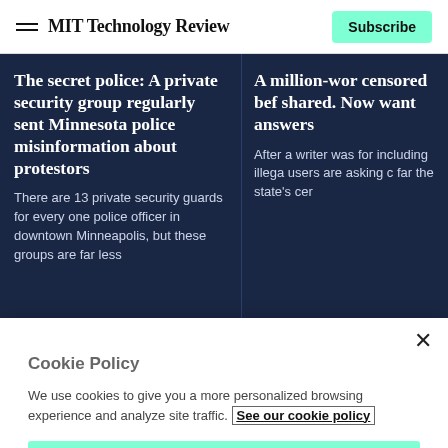MIT Technology Review | Subscribe
The secret police: A private security group regularly sent Minnesota police misinformation about protestors
There are 13 private security guards for every one police officer in downtown Minneapolis, but these groups are far less
A million-wor censored bef shared. Now want answers
After a writer was for including illega users are asking c far the state's cer
Cookie Policy
We use cookies to give you a more personalized browsing experience and analyze site traffic. See our cookie policy
Accept all cookies
Cookies settings